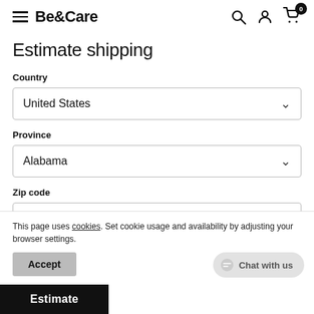Be&Care
Estimate shipping
Country
United States
Province
Alabama
Zip code
This page uses cookies. Set cookie usage and availability by adjusting your browser settings.
Accept
Chat with us
Estimate